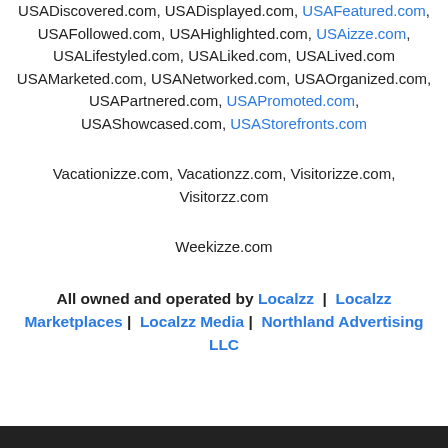USADiscovered.com, USADisplayed.com, USAFeatured.com, USAFollowed.com, USAHighlighted.com, USAizze.com, USALifestyled.com, USALiked.com, USALived.com USAMarketed.com, USANetworked.com, USAOrganized.com, USAPartnered.com, USAPromoted.com, USAShowcased.com, USAStorefronts.com
Vacationizze.com, Vacationzz.com, Visitorizze.com, Visitorzz.com
Weekizze.com
All owned and operated by Localzz | Localzz Marketplaces | Localzz Media | Northland Advertising LLC